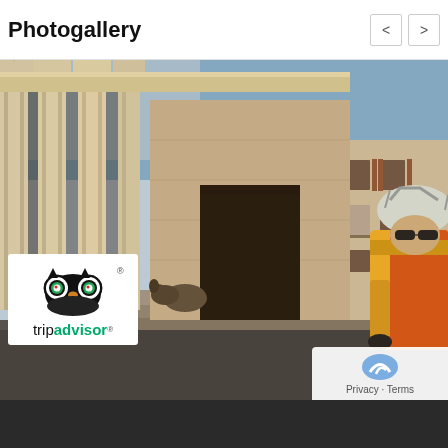Photogallery
[Figure (photo): Photogallery image showing an ancient Roman temple with large stone columns, a weathered stone facade, a historic building with shuttered windows in the background, a dog on the steps, and a cyclist in a yellow and orange jersey wearing a helmet and sunglasses in the foreground right.]
[Figure (logo): TripAdvisor logo with owl icon and tripadvisor text in black and green]
Privacy · Terms